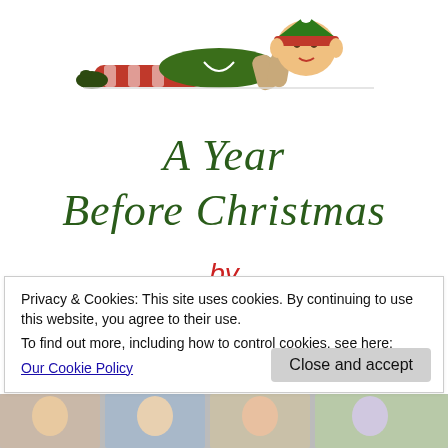[Figure (illustration): A cartoon Christmas elf lying on its stomach, wearing a green and red striped outfit with a green hat, looking forward with elbows propped up.]
A Year Before Christmas
by
Cathley Cade (partial, cut off)
Privacy & Cookies: This site uses cookies. By continuing to use this website, you agree to their use.
To find out more, including how to control cookies, see here:
Our Cookie Policy
Close and accept
[Figure (photo): Partial strip of photos at the bottom of the page showing faces/people, partially visible.]